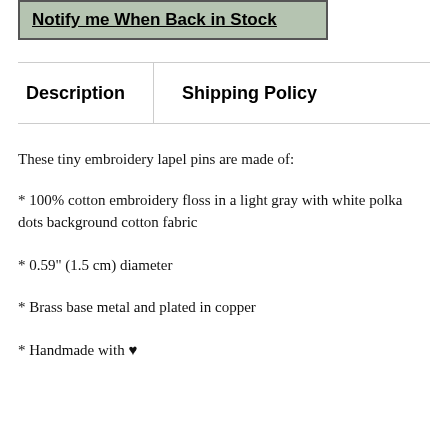[Figure (other): Button with text 'Notify me When Back in Stock' on a muted green background with border]
Description | Shipping Policy
These tiny embroidery lapel pins are made of:
* 100% cotton embroidery floss in a light gray with white polka dots background cotton fabric
* 0.59" (1.5 cm) diameter
* Brass base metal and plated in copper
* Handmade with ♥